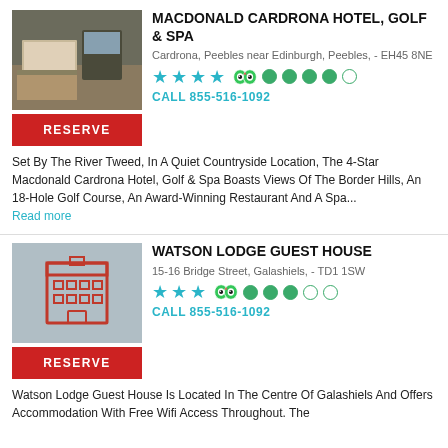MACDONALD CARDRONA HOTEL, GOLF & SPA
Cardrona, Peebles near Edinburgh, Peebles, - EH45 8NE
CALL 855-516-1092
Set By The River Tweed, In A Quiet Countryside Location, The 4-Star Macdonald Cardrona Hotel, Golf & Spa Boasts Views Of The Border Hills, An 18-Hole Golf Course, An Award-Winning Restaurant And A Spa...
Read more
WATSON LODGE GUEST HOUSE
15-16 Bridge Street, Galashiels, - TD1 1SW
CALL 855-516-1092
Watson Lodge Guest House Is Located In The Centre Of Galashiels And Offers Accommodation With Free Wifi Access Throughout. The